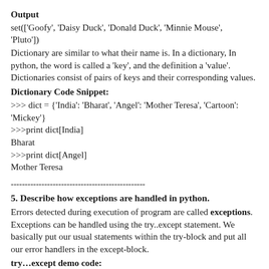Output
set(['Goofy', 'Daisy Duck', 'Donald Duck', 'Minnie Mouse', 'Pluto'])
Dictionary are similar to what their name is. In a dictionary, In python, the word is called a 'key', and the definition a 'value'. Dictionaries consist of pairs of keys and their corresponding values.
Dictionary Code Snippet:
>>> dict = {'India': 'Bharat', 'Angel': 'Mother Teresa', 'Cartoon': 'Mickey'}
>>>print dict[India]
Bharat
>>>print dict[Angel]
Mother Teresa
--------------------------------------------
5. Describe how exceptions are handled in python.
Errors detected during execution of program are called exceptions. Exceptions can be handled using the try..except statement. We basically put our usual statements within the try-block and put all our error handlers in the except-block.
try…except demo code:
>>> while True:
try:
        x = int(raw_input("Enter no. of your choice: "))